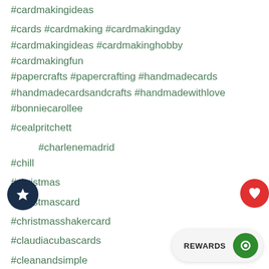#cardmakingideas
#cards #cardmaking #cardmakingday
#cardmakingideas #cardmakinghobby #cardmakingfun
#papercrafts #papercrafting #handmadecards
#handmadecardsandcrafts #handmadewithlove
#bonniecarollee
#cealpritchett
#charlenemadrid
#chill
#christmas
#christmascard
#christmasshakercard
#claudiacubascards
#cleanandsimple